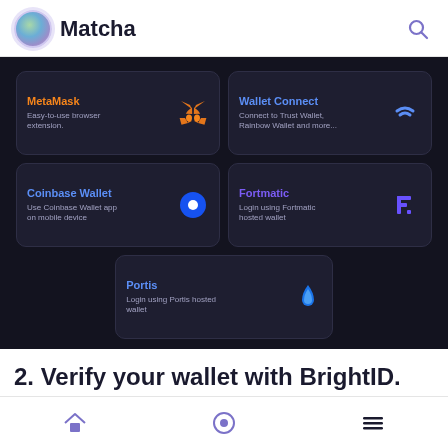Matcha
[Figure (screenshot): Wallet connection options panel with dark background showing MetaMask, Wallet Connect, Coinbase Wallet, Fortmatic, and Portis wallet options with icons]
2. Verify your wallet with BrightID. BrightID is a
Home | Compass | Menu navigation icons